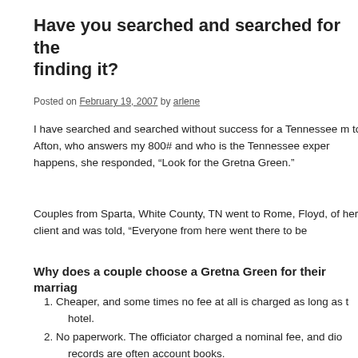Have you searched and searched for the finding it?
Posted on February 19, 2007 by arlene
I have searched and searched without success for a Tennessee m to Afton, who answers my 800# and who is the Tennessee exper happens, she responded, “Look for the Gretna Green.”
Couples from Sparta, White County, TN went to Rome, Floyd, of her client and was told, “Everyone from here went there to be
Why does a couple choose a Gretna Green for their marriag
Cheaper, and some times no fee at all is charged as long as t hotel.
No paperwork. The officiator charged a nominal fee, and dio records are often account books.
No bond was required to cover reasons the marriage should